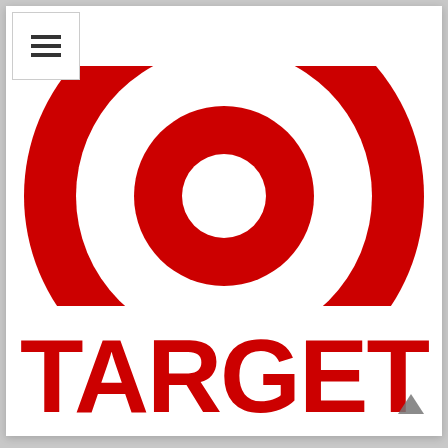[Figure (logo): Target corporation logo: red bullseye (concentric circles) above the word TARGET in bold red letters, on white background with a hamburger menu icon in top-left corner]